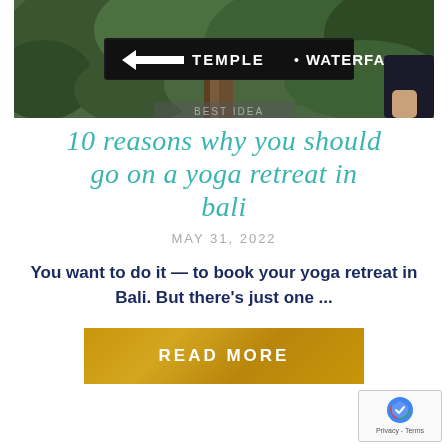[Figure (photo): A signpost in a lush green tropical setting, with black wooden signs pointing left reading 'TEMPLE • WATERFALL'. A person's hand and arm in dark clothing is visible on the right. Dense green foliage in background.]
10 reasons why you should go on a yoga retreat in bali
MAY 31, 2022
You want to do it — to book your yoga retreat in Bali. But there's just one ...
READ MORE